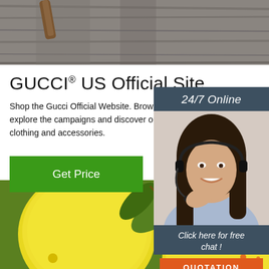[Figure (photo): Close-up of wooden surface with a food item (stick/cinnamon), gray-toned photo cropped at top]
GUCCI® US Official Site
Shop the Gucci Official Website. Browse the late... explore the campaigns and discover our online a... clothing and accessories.
[Figure (other): Green 'Get Price' button]
[Figure (photo): Sidebar with '24/7 Online' header, photo of a smiling woman with headset, 'Click here for free chat!' text, and orange QUOTATION button]
[Figure (photo): Close-up photo of yellow lemons with green leaves, with a TOP logo watermark in bottom right]